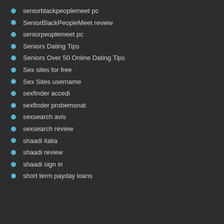seniorblackpeoplemeet pc
SeniorBlackPeopleMeet review
seniorpeoplemeet pc
Seniors Dating Tips
Seniors Over 50 Online Dating Tips
Sex sites for free
Sex Sites username
sexfinder accedi
sexfinder probemonat
sexsearch avis
sexsearch review
shaadi italia
shaadi review
shaadi sign in
short term payday loans